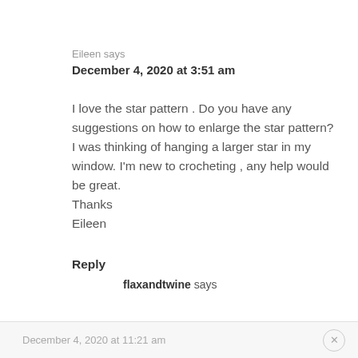Eileen says
December 4, 2020 at 3:51 am
I love the star pattern . Do you have any suggestions on how to enlarge the star pattern? I was thinking of hanging a larger star in my window. I'm new to crocheting , any help would be great.
Thanks
Eileen
Reply
flaxandtwine says
December 4, 2020 at 11:21 am